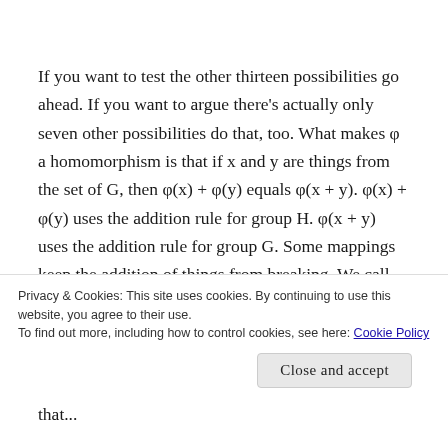If you want to test the other thirteen possibilities go ahead. If you want to argue there's actually only seven other possibilities do that, too. What makes φ a homomorphism is that if x and y are things from the set of G, then φ(x) + φ(y) equals φ(x + y). φ(x) + φ(y) uses the addition rule for group H. φ(x + y) uses the addition rule for group G. Some mappings keep the addition of things from breaking. We call this
Privacy & Cookies: This site uses cookies. By continuing to use this website, you agree to their use.
To find out more, including how to control cookies, see here: Cookie Policy
Close and accept
that...